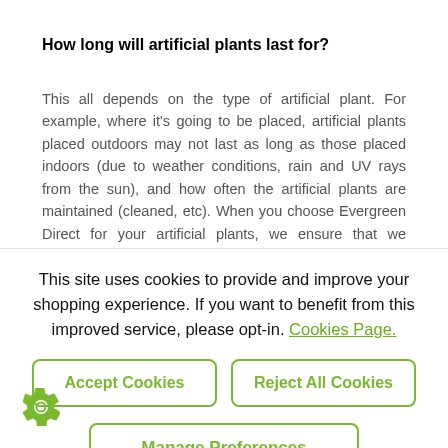How long will artificial plants last for?
This all depends on the type of artificial plant. For example, where it's going to be placed, artificial plants placed outdoors may not last as long as those placed indoors (due to weather conditions, rain and UV rays from the sun), and how often the artificial plants are maintained (cleaned, etc). When you choose Evergreen Direct for your artificial plants, we ensure that we provide products that have been produced to the best standards and are
This site uses cookies to provide and improve your shopping experience. If you want to benefit from this improved service, please opt-in. Cookies Page.
Accept Cookies
Reject All Cookies
Manage Preferences